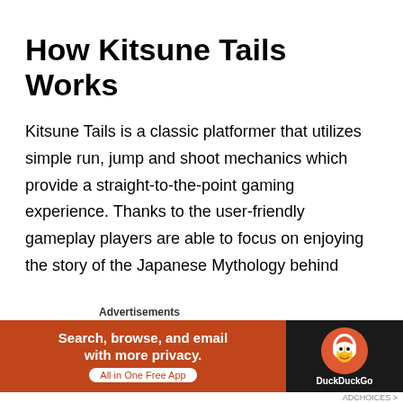How Kitsune Tails Works
Kitsune Tails is a classic platformer that utilizes simple run, jump and shoot mechanics which provide a straight-to-the-point gaming experience. Thanks to the user-friendly gameplay players are able to focus on enjoying the story of the Japanese Mythology behind
We use cookies on our website to give you the most relevant experience by remembering your preferences and repeat visits. By clicking “Accept”, you consent to the use of ALL the cookies.
Do not sell my personal information.
Advertisements
[Figure (infographic): DuckDuckGo advertisement banner with orange background on left showing 'Search, browse, and email with more privacy. All in One Free App' and dark background on right with DuckDuckGo duck logo and brand name.]